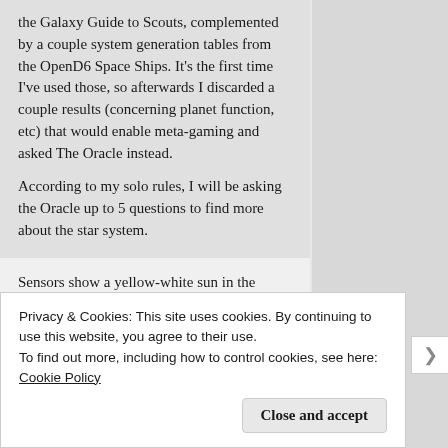the Galaxy Guide to Scouts, complemented by a couple system generation tables from the OpenD6 Space Ships. It's the first time I've used those, so afterwards I discarded a couple results (concerning planet function, etc) that would enable meta-gaming and asked The Oracle instead.
According to my solo rules, I will be asking the Oracle up to 5 questions to find more about the star system.
Sensors show a yellow-white sun in the system orbited by one huge gas giant planet. The gas giant is orbited by 2 large moons. 6 comets are detected orbiting the system.
Privacy & Cookies: This site uses cookies. By continuing to use this website, you agree to their use.
To find out more, including how to control cookies, see here: Cookie Policy
Close and accept